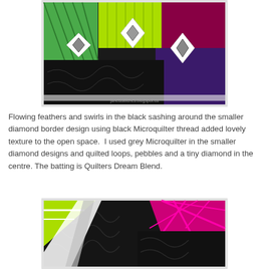[Figure (photo): Close-up photo of a quilt showing black sashing with diamond shapes in green, white, black, and purple/magenta colors, with feather and swirl quilting visible. Watermark text reads 'janetsstitches.blogspot.ca']
Flowing feathers and swirls in the black sashing around the smaller diamond border design using black Microquilter thread added lovely texture to the open space.  I used grey Microquilter in the smaller diamond designs and quilted loops, pebbles and a tiny diamond in the centre. The batting is Quilters Dream Blend.
[Figure (photo): Close-up photo of a quilt showing black background with lime green, white, and magenta/pink star or diamond pattern with visible quilting texture including feathers and swirls on the black fabric.]